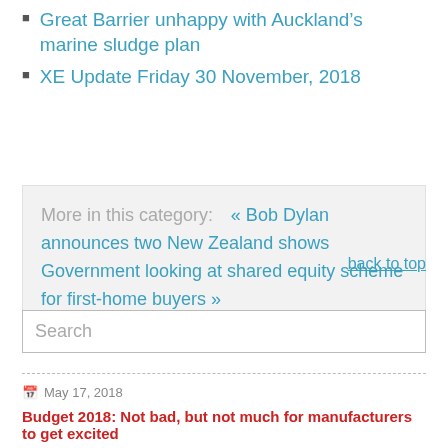Great Barrier unhappy with Auckland's marine sludge plan
XE Update Friday 30 November, 2018
More in this category:   « Bob Dylan announces two New Zealand shows      Government looking at shared equity scheme for first-home buyers »
back to top
Search
May 17, 2018
Budget 2018: Not bad, but not much for manufacturers to get excited